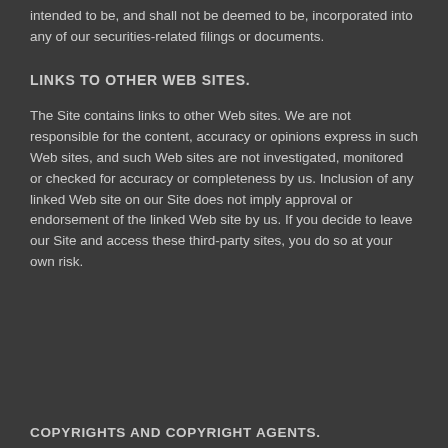intended to be, and shall not be deemed to be, incorporated into any of our securities-related filings or documents.
LINKS TO OTHER WEB SITES.
The Site contains links to other Web sites. We are not responsible for the content, accuracy or opinions express in such Web sites, and such Web sites are not investigated, monitored or checked for accuracy or completeness by us. Inclusion of any linked Web site on our Site does not imply approval or endorsement of the linked Web site by us. If you decide to leave our Site and access these third-party sites, you do so at your own risk.
COPYRIGHTS AND COPYRIGHT AGENTS.